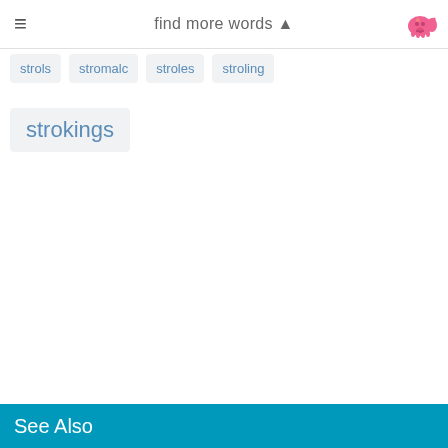find more words ▲
strols
stromalc
stroles
stroling
strokings
See Also